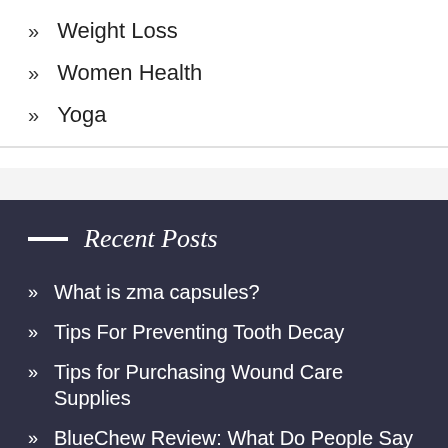Weight Loss
Women Health
Yoga
Recent Posts
What is zma capsules?
Tips For Preventing Tooth Decay
Tips for Purchasing Wound Care Supplies
BlueChew Review: What Do People Say About Service?